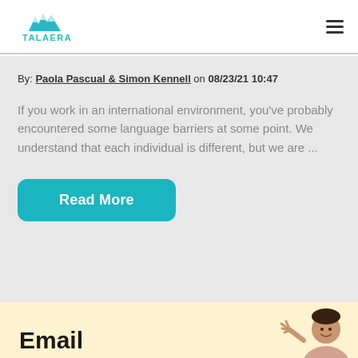TALAERA
By: Paola Pascual & Simon Kennell on 08/23/21 10:47
If you work in an international environment, you've probably encountered some language barriers at some point. We understand that each individual is different, but we are ...
Read More
Email